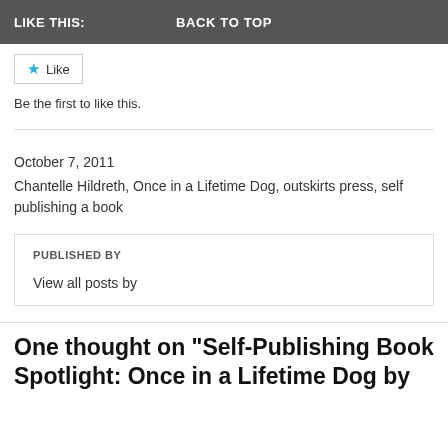LIKE THIS:   BACK TO TOP
[Figure (other): Like button with blue star icon and text 'Like']
Be the first to like this.
October 7, 2011
Chantelle Hildreth, Once in a Lifetime Dog, outskirts press, self publishing a book
PUBLISHED BY
View all posts by
One thought on “Self-Publishing Book Spotlight: Once in a Lifetime Dog by